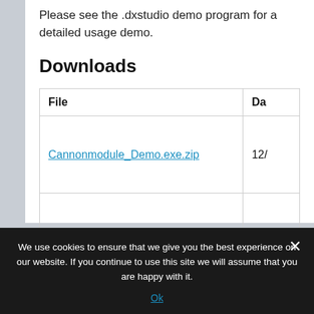Please see the .dxstudio demo program for a detailed usage demo.
Downloads
| File | Da… |
| --- | --- |
| Cannonmodule_Demo.exe.zip | 12/ |
|  |  |
We use cookies to ensure that we give you the best experience on our website. If you continue to use this site we will assume that you are happy with it.
Ok